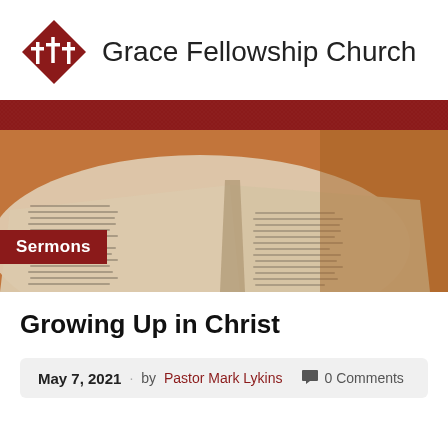[Figure (logo): Grace Fellowship Church logo: dark red diamond shape with three white crosses inside, followed by church name text]
[Figure (photo): Banner image of an open Bible on a wooden surface with warm brown background, with a dark red navigation bar at top. A dark red label reading 'Sermons' overlays the bottom-left of the image.]
Growing Up in Christ
May 7, 2021 · by Pastor Mark Lykins · 0 Comments